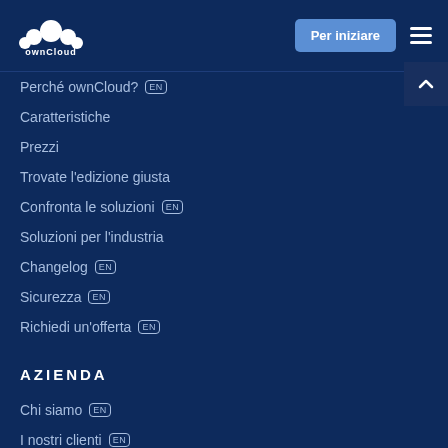ownCloud — Per iniziare
Perché ownCloud? EN
Caratteristiche
Prezzi
Trovate l'edizione giusta
Confronta le soluzioni EN
Soluzioni per l'industria
Changelog EN
Sicurezza EN
Richiedi un'offerta EN
AZIENDA
Chi siamo EN
I nostri clienti EN
Partners